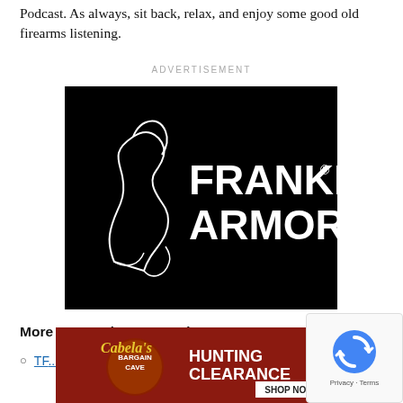Podcast. As always, sit back, relax, and enjoy some good old firearms listening.
ADVERTISEMENT
[Figure (logo): Franklin Armory logo — white silhouette of Benjamin Franklin profile on left, bold white text 'FRANKLIN® ARMORY' on black background]
More TFB Podcast Roundups @ TFB:
TFB... Ro...
[Figure (screenshot): Cabela's Bargain Cave Hunting Clearance banner ad with Shop Now button]
[Figure (other): reCAPTCHA widget with Google logo, Privacy and Terms text]